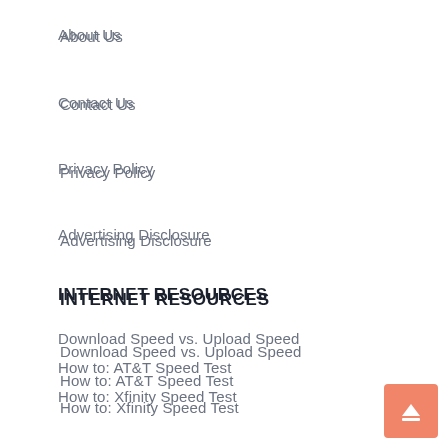About Us
Contact Us
Privacy Policy
Advertising Disclosure
INTERNET RESOURCES
Download Speed vs. Upload Speed
How to: AT&T Speed Test
How to: Xfinity Speed Test
How to: Spectrum Speed Test
How to Test Verizon Internet Speed
How to: Create a Home Network